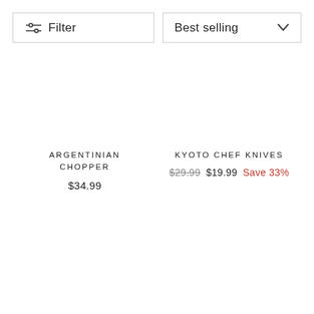Filter
Best selling
ARGENTINIAN CHOPPER
$34.99
KYOTO CHEF KNIVES
$29.99  $19.99  Save 33%